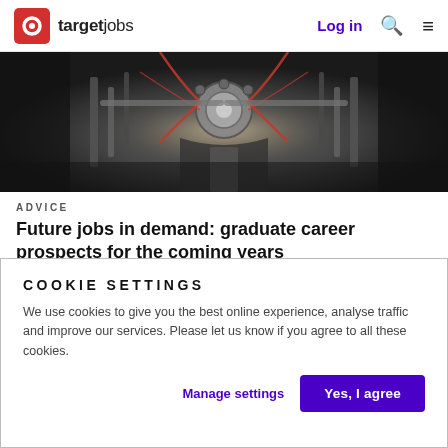targetjobs | Log in
[Figure (photo): Dark mechanical/robotic machinery image used as article hero banner]
ADVICE
Future jobs in demand: graduate career prospects for the coming years
What jobs will be in high demand in the future? See our
COOKIE SETTINGS
We use cookies to give you the best online experience, analyse traffic and improve our services. Please let us know if you agree to all these cookies.
Manage settings | Yes, I agree